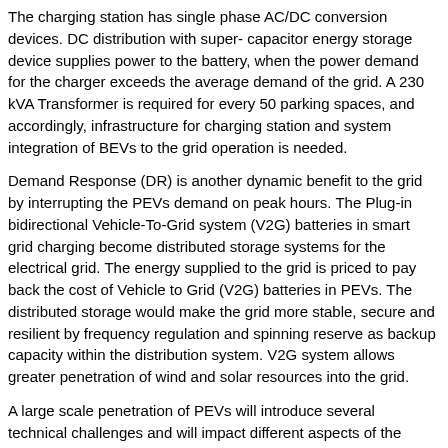The charging station has single phase AC/DC conversion devices. DC distribution with super- capacitor energy storage device supplies power to the battery, when the power demand for the charger exceeds the average demand of the grid. A 230 kVA Transformer is required for every 50 parking spaces, and accordingly, infrastructure for charging station and system integration of BEVs to the grid operation is needed.
Demand Response (DR) is another dynamic benefit to the grid by interrupting the PEVs demand on peak hours. The Plug-in bidirectional Vehicle-To-Grid system (V2G) batteries in smart grid charging become distributed storage systems for the electrical grid. The energy supplied to the grid is priced to pay back the cost of Vehicle to Grid (V2G) batteries in PEVs. The distributed storage would make the grid more stable, secure and resilient by frequency regulation and spinning reserve as backup capacity within the distribution system. V2G system allows greater penetration of wind and solar resources into the grid.
A large scale penetration of PEVs will introduce several technical challenges and will impact different aspects of the power system grid:
Impose uncertainty in load in the distribution system, need reliable communication network, impose cyber